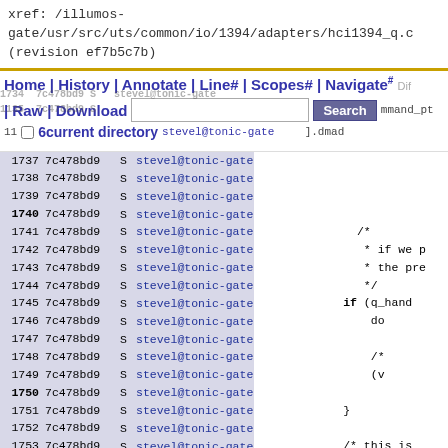xref: /illumos-gate/usr/src/uts/common/io/1394/adapters/hci1394_q.c (revision ef7b5c7b)
Home | History | Annotate | Line# | Scopes# | Navigate# | Raw | Download  [Search]  current directory
| line | rev | flag | author | code |
| --- | --- | --- | --- | --- |
| 1734 | 7c478bd9 | S | stevel@tonic-gate |  |
| 1735 | 7c478bd9 | S | stevel@tonic-gate | mmand_pt |
| 1136 | 7c478bd9 | S | stevel@tonic-gate | ].dmad |
| 1737 | 7c478bd9 | S | stevel@tonic-gate |  |
| 1738 | 7c478bd9 | S | stevel@tonic-gate | /* |
| 1739 | 7c478bd9 | S | stevel@tonic-gate | * if we p |
| 1740 | 7c478bd9 | S | stevel@tonic-gate | * the pre |
| 1741 | 7c478bd9 | S | stevel@tonic-gate | */ |
| 1742 | 7c478bd9 | S | stevel@tonic-gate | if (q_hand |
| 1743 | 7c478bd9 | S | stevel@tonic-gate | do |
| 1744 | 7c478bd9 | S | stevel@tonic-gate |  |
| 1745 | 7c478bd9 | S | stevel@tonic-gate | /* |
| 1746 | 7c478bd9 | S | stevel@tonic-gate | (v |
| 1747 | 7c478bd9 | S | stevel@tonic-gate |  |
| 1748 | 7c478bd9 | S | stevel@tonic-gate | } |
| 1749 | 7c478bd9 | S | stevel@tonic-gate |  |
| 1750 | 7c478bd9 | S | stevel@tonic-gate | /* this is |
| 1751 | 7c478bd9 | S | stevel@tonic-gate | q_handle-> |
| 1752 | 7c478bd9 | S | stevel@tonic-gate | qbuf->qb_p |
| 1753 | 7c478bd9 | S | stevel@tonic-gate |  |
| 1754 | 7c478bd9 | S | stevel@tonic-gate | /* If the |
| 1755 | 7c478bd9 | S | stevel@tonic-gate | if (q_han |
| 1756 | 7c478bd9 | S | stevel@tonic-gate | q_ |
| 1757 | 7c478bd9 | S | stevel@tonic-gate |  |
| 1758 | 7c478bd9 | S | stevel@tonic-gate |  |